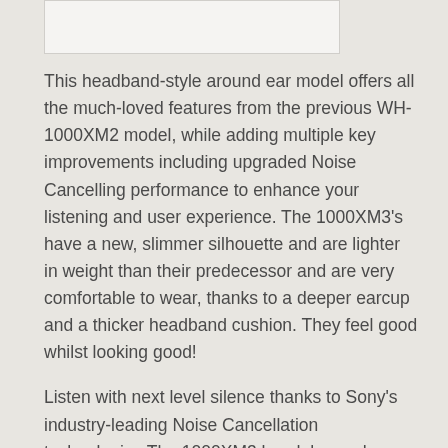[Figure (photo): Partial product image at top of page, white/light background]
This headband-style around ear model offers all the much-loved features from the previous WH-1000XM2 model, while adding multiple key improvements including upgraded Noise Cancelling performance to enhance your listening and user experience. The 1000XM3's have a new, slimmer silhouette and are lighter in weight than their predecessor and are very comfortable to wear, thanks to a deeper earcup and a thicker headband cushion. They feel good whilst looking good!
Listen with next level silence thanks to Sony's industry-leading Noise Cancellation technologies The 1000XM3 headphones have an upgraded Quick Charging function that provides 5 hours of wireless playback from a mere 10 minutes of charging.